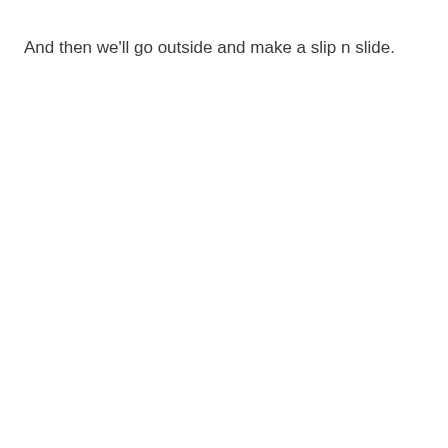And then we'll go outside and make a slip n slide.